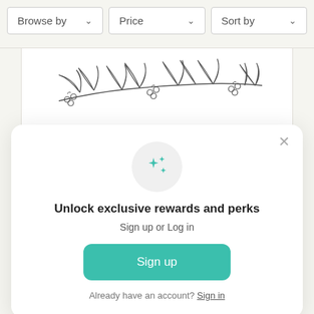Browse by
Price
Sort by
[Figure (illustration): Botanical line drawing of a branch with leaves and berries]
[Figure (illustration): Teal sparkle/stars icon inside a light gray circle]
Unlock exclusive rewards and perks
Sign up or Log in
Sign up
Already have an account? Sign in